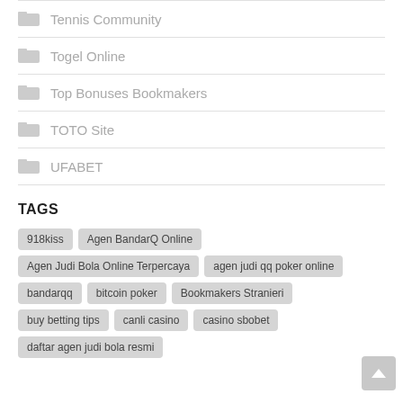Tennis Community
Togel Online
Top Bonuses Bookmakers
TOTO Site
UFABET
TAGS
918kiss
Agen BandarQ Online
Agen Judi Bola Online Terpercaya
agen judi qq poker online
bandarqq
bitcoin poker
Bookmakers Stranieri
buy betting tips
canli casino
casino sbobet
daftar agen judi bola resmi